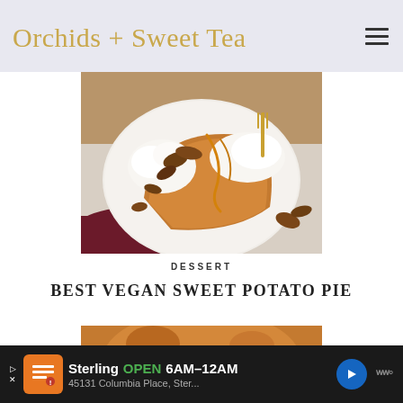Orchids + Sweet Tea
[Figure (photo): Close-up food photo of a slice of sweet potato pie on a white plate, topped with whipped cream and pecans, drizzled with caramel sauce, with a gold fork, on a rustic white surface with a dark red cloth.]
DESSERT
BEST VEGAN SWEET POTATO PIE
[Figure (photo): Partial view of a sweet potato pie in a pie dish.]
Sterling OPEN 6AM–12AM 45131 Columbia Place, Ster...